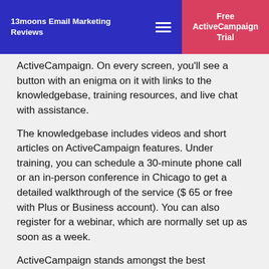13moons Email Marketing Reviews | Free ActiveCampaign Trial
ActiveCampaign. On every screen, you'll see a button with an enigma on it with links to the knowledgebase, training resources, and live chat with assistance.
The knowledgebase includes videos and short articles on ActiveCampaign features. Under training, you can schedule a 30-minute phone call or an in-person conference in Chicago to get a detailed walkthrough of the service ($ 65 or free with Plus or Business account). You can also register for a webinar, which are normally set up as soon as a week.
ActiveCampaign stands amongst the best